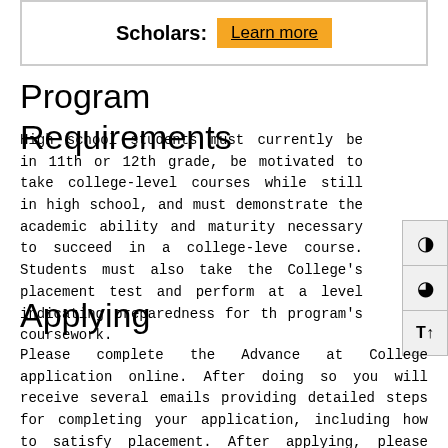[Figure (other): Box with 'Scholars: Learn more' button in gold/yellow]
Program Requirements
High school students must currently be in 11th or 12th grade, be motivated to take college-level courses while still in high school, and must demonstrate the academic ability and maturity necessary to succeed in a college-level course. Students must also take the College's placement test and perform at a level indicating preparedness for the program's coursework.
Applying
Please complete the Advance at College application online. After doing so you will receive several emails providing detailed steps for completing your application, including how to satisfy placement. After applying, please check your email regularly to avoid delays in processing your application.